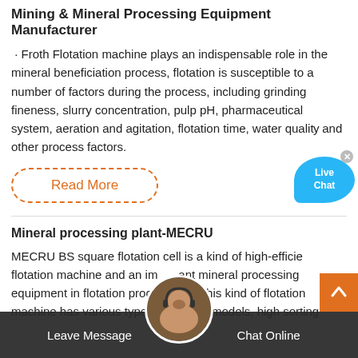Mining & Mineral Processing Equipment Manufacturer
· Froth Flotation machine plays an indispensable role in the mineral beneficiation process, flotation is susceptible to a number of factors during the process, including grinding fineness, slurry concentration, pulp pH, pharmaceutical system, aeration and agitation, flotation time, water quality and other process factors.
Read More
Mineral processing plant-MECRU
MECRU BS square flotation cell is a kind of high-efficiency flotation machine and an important mineral processing equipment in flotation process line. This kind of flotation machine has various types, complete models, high sorting
Leave Message
Chat Online